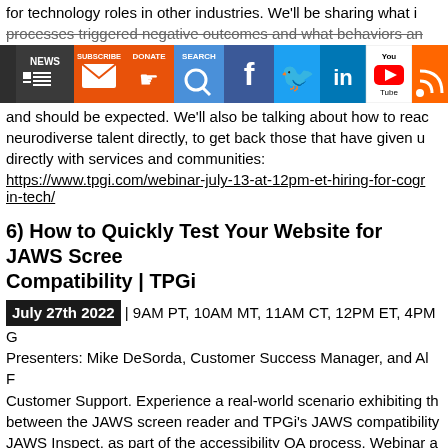for technology roles in other industries. We'll be sharing what processes triggered negative outcomes and what behaviors and
[Figure (screenshot): Social media icon toolbar showing NEWS, SUBSCRIBE, DONATE, SEARCH, Facebook, Twitter, LinkedIn, YouTube, and RSS feed icons]
and should be expected. We'll also be talking about how to reach neurodiverse talent directly, to get back those that have given up directly with services and communities:
https://www.tpgi.com/webinar-july-13-at-12pm-et-hiring-for-cogn-in-tech/
6) How to Quickly Test Your Website for JAWS Screen Compatibility | TPGi
July 27th 2022 | 9AM PT, 10AM MT, 11AM CT, 12PM ET, 4PM G Presenters: Mike DeSorda, Customer Success Manager, and Al F Customer Support. Experience a real-world scenario exhibiting th between the JAWS screen reader and TPGi's JAWS compatibility JAWS Inspect, as part of the accessibility QA process. Webinar a observe the interaction between a real JAWS user struggling with designed web page and a TPGi accessibility tester quickly maki the JAWS user's accessibility challenges via the power of JAWS Inspect provides text output of the JAWS audio speech to enable users to efficiently test for screen reader compatibility. Attendees first-hand look at how to use JAWS Inspect alongside JAWS (or quick and easy screen reader compatibility testing: